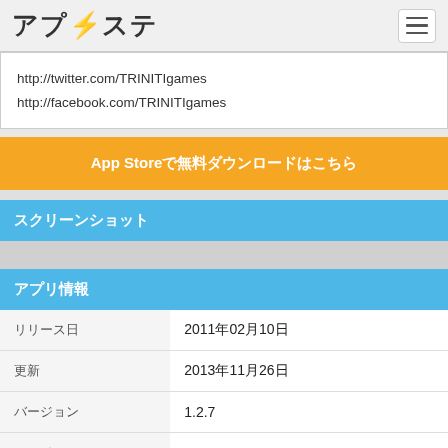アプ⚡ステ
http://twitter.com/TRINITIgames
http://facebook.com/TRINITIgames
App Storeで無料ダウンロードはこちら
スクリーンショット
アプリ情報
|  |  |
| --- | --- |
| リリース日 | 2011年02月10日 |
| 更新 | 2013年11月26日 |
| バージョン | 1.2.7 |
| ファイル | 26.82 MB |